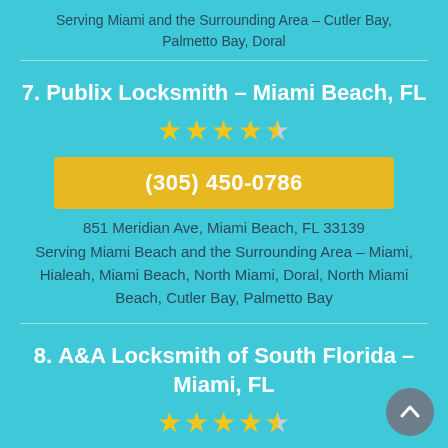Serving Miami and the Surrounding Area – Cutler Bay, Palmetto Bay, Doral
7. Publix Locksmith – Miami Beach, FL
★★★★½
(305) 450-0786
851 Meridian Ave, Miami Beach, FL 33139
Serving Miami Beach and the Surrounding Area – Miami, Hialeah, Miami Beach, North Miami, Doral, North Miami Beach, Cutler Bay, Palmetto Bay
8. A&A Locksmith of South Florida – Miami, FL
★★★★½
(786) 999-5693